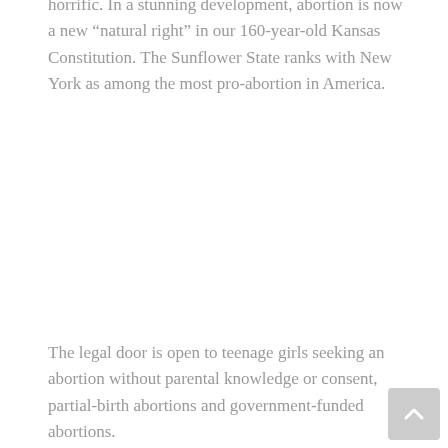horrific. In a stunning development, abortion is now a new “natural right” in our 160-year-old Kansas Constitution. The Sunflower State ranks with New York as among the most pro-abortion in America.
The legal door is open to teenage girls seeking an abortion without parental knowledge or consent, partial-birth abortions and government-funded abortions.
Gruesome live dismemberment abortions continue unabated in Kansas, thanks to the court’s decision.
On average, the lives of a dozen preborn, second-trimester babies die this way each week within our borders.